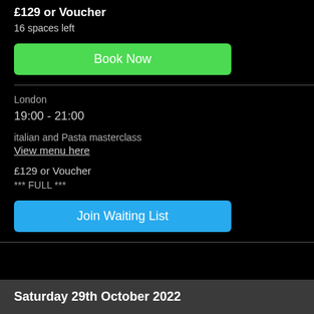£129 or Voucher
16 spaces left
[Figure (other): Green 'Book Now' button]
London
19:00 - 21:00
italian and Pasta masterclass
View menu here
£129 or Voucher
*** FULL ***
[Figure (other): Blue 'Join Waiting List' button]
Saturday 29th October 2022